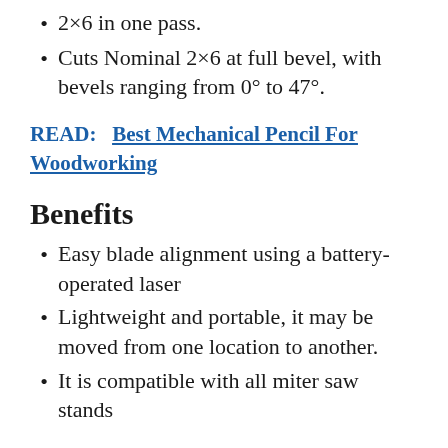2×6 in one pass.
Cuts Nominal 2×6 at full bevel, with bevels ranging from 0° to 47°.
READ:   Best Mechanical Pencil For Woodworking
Benefits
Easy blade alignment using a battery-operated laser
Lightweight and portable, it may be moved from one location to another.
It is compatible with all miter saw stands